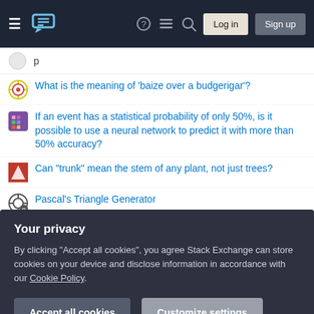Stack Exchange navigation bar with Login and Sign up buttons
What is the meaning of 'baize over a budgerigar'?
If an event has a statistical probability of only 50%, is it possible to use a neural network to predict it with more than 50% accuracy?
Can "trunk" mean the stem of any plant, not just trees?
Pascal's Triangle Generator
Is it legal to publish a "copy" of the Constitution with fake text added?
Is it bad practice to have a 'super admin' - so they effectively bypass security checks in your system?
Why is the hot part of Webb's MIRI cryocooler in the 300K area?
How much of the second SLS has been built?
[Figure (screenshot): Privacy cookie consent overlay with 'Your privacy' heading, explanatory text, Accept all cookies and Customize settings buttons]
What are the pros and cons of demanding 1-2 trillion in reparation